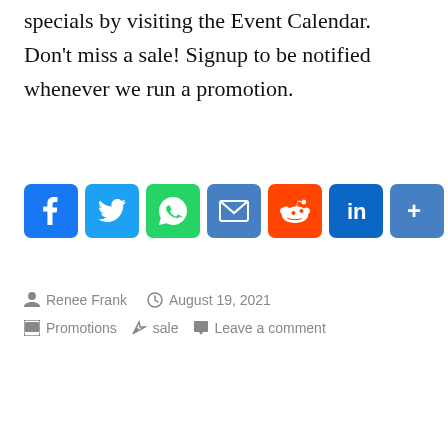specials by visiting the Event Calendar. Don't miss a sale! Signup to be notified whenever we run a promotion.
[Figure (infographic): Row of social media share buttons: Facebook, Twitter, WhatsApp, Email, Reddit, LinkedIn, More]
By Renee Frank · August 19, 2021 · Promotions · sale · Leave a comment